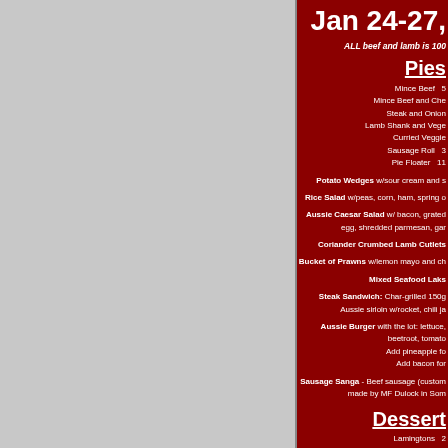Jan 24-27,
ALL beef and lamb is 100
Pies
Mince Beef  5
Mince Beef and Che
Steak and Onion
Lamb Shank and Vege
Curried Veggie
Sausage Roll  3
Pie Floater  11
Potato Wedges w/sour cream and s
Rice Salad w/peas, corn, ham, spring o
Aussie Caesar Salad w/ bacon, grated egg, shredded parmesan, gar
Coriander Crumbed Lamb Cutlets
Bucket of Prawns w/lemon mayo and ch
Mixed Seafood Laks
Steak Sandwich: Char-grilled 150g Aussie sirloin w/rocket, chili ja
Aussie Burger with the lot: lettuce, beetroot, tomato. Add pineapple fo. Add bacon for
Sausage Sanga - Beef sausage (custom made by MF Dulock in Som
Dessert
Lamingtons  2
Anzac biscuits
Individual